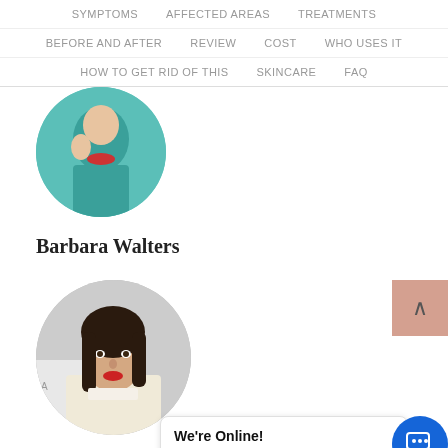SYMPTOMS   AFFECTED AREAS   TREATMENTS   BEFORE AND AFTER   REVIEW   COST   WHO USES IT   HOW TO GET RID OF THIS   SKINCARE   FAQ
[Figure (photo): Circular cropped photo of Barbara Walters wearing teal clothing]
Barbara Walters
[Figure (photo): Circular cropped photo of Anjelica Huston with dark hair and bangs, at an event with UCLA signage]
Anjelica Hus...
[Figure (screenshot): Chat bubble overlay reading 'We're Online! How may I help you today?' with a blue chat icon button]